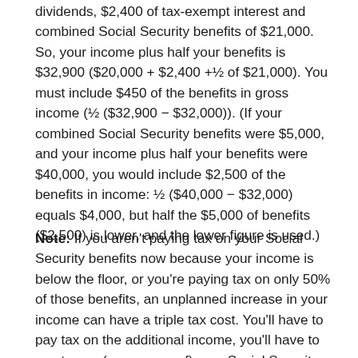dividends, $2,400 of tax-exempt interest and combined Social Security benefits of $21,000. So, your income plus half your benefits is $32,900 ($20,000 + $2,400 +½ of $21,000). You must include $450 of the benefits in gross income (½ ($32,900 − $32,000)). (If your combined Social Security benefits were $5,000, and your income plus half your benefits were $40,000, you would include $2,500 of the benefits in income: ½ ($40,000 − $32,000) equals $4,000, but half the $5,000 of benefits ($2,500) is lower, and the lower figure is used.)
Note: If you aren't paying tax on your Social Security benefits now because your income is below the floor, or you're paying tax on only 50% of those benefits, an unplanned increase in your income can have a triple tax cost. You'll have to pay tax on the additional income, you'll have to pay tax on (or on more of) your Social Security benefits (since the higher your income the more